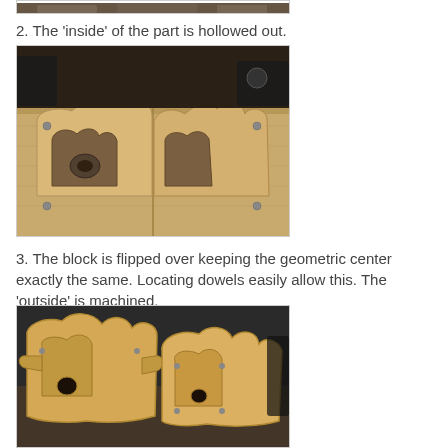[Figure (photo): Top portion of a photo showing a wooden mold part on a workbench, partially visible at the top of the page.]
2. The 'inside' of the part is hollowed out.
[Figure (photo): Photo of a wooden mold with the inside hollowed out, showing complex curved shapes machined into wood blocks on a workbench.]
3. The block is flipped over keeping the geometric center exactly the same. Locating dowels easily allow this. The 'outside' is machined.
[Figure (photo): Photo of two wooden mold halves with outside surfaces machined, showing complex shaped wooden patterns placed on a surface.]